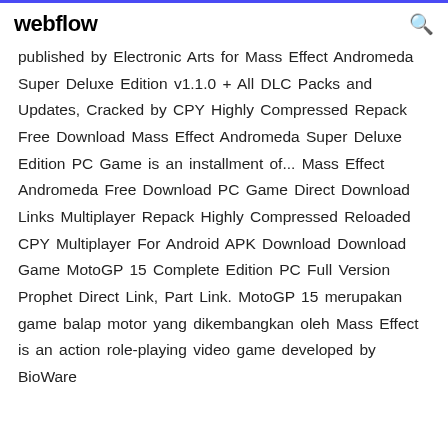webflow
published by Electronic Arts for Mass Effect Andromeda Super Deluxe Edition v1.1.0 + All DLC Packs and Updates, Cracked by CPY Highly Compressed Repack Free Download Mass Effect Andromeda Super Deluxe Edition PC Game is an installment of... Mass Effect Andromeda Free Download PC Game Direct Download Links Multiplayer Repack Highly Compressed Reloaded CPY Multiplayer For Android APK Download Download Game MotoGP 15 Complete Edition PC Full Version Prophet Direct Link, Part Link. MotoGP 15 merupakan game balap motor yang dikembangkan oleh Mass Effect is an action role-playing video game developed by BioWare